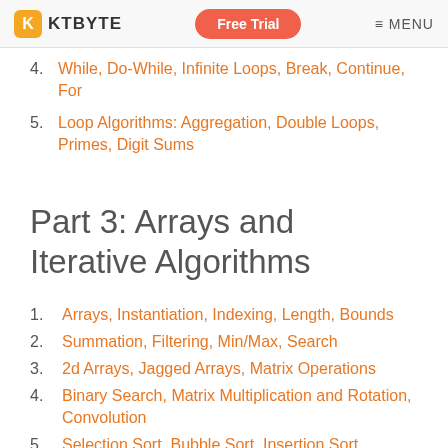KTBYTE | Free Trial | MENU
4. While, Do-While, Infinite Loops, Break, Continue, For
5. Loop Algorithms: Aggregation, Double Loops, Primes, Digit Sums
Part 3: Arrays and Iterative Algorithms
1. Arrays, Instantiation, Indexing, Length, Bounds
2. Summation, Filtering, Min/Max, Search
3. 2d Arrays, Jagged Arrays, Matrix Operations
4. Binary Search, Matrix Multiplication and Rotation, Convolution
5. Selection Sort, Bubble Sort, Insertion Sort